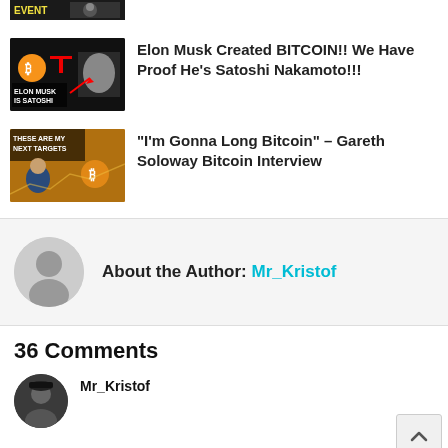[Figure (screenshot): Thumbnail image partially visible at top]
Elon Musk Created BITCOIN!! We Have Proof He’s Satoshi Nakamoto!!!
"I'm Gonna Long Bitcoin" – Gareth Soloway Bitcoin Interview
About the Author: Mr_Kristof
36 Comments
Mr_Kristof